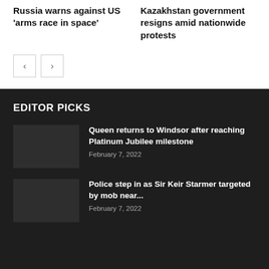Russia warns against US 'arms race in space'
Kazakhstan government resigns amid nationwide protests
EDITOR PICKS
Queen returns to Windsor after reaching Platinum Jubilee milestone
February 7, 2022
Police step in as Sir Keir Starmer targeted by mob near...
February 7, 2022